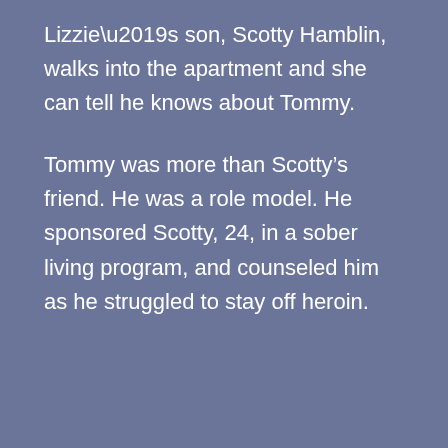Lizzie’s son, Scotty Hamblin, walks into the apartment and she can tell he knows about Tommy.
Tommy was more than Scotty’s friend. He was a role model. He sponsored Scotty, 24, in a sober living program, and counseled him as he struggled to stay off heroin.